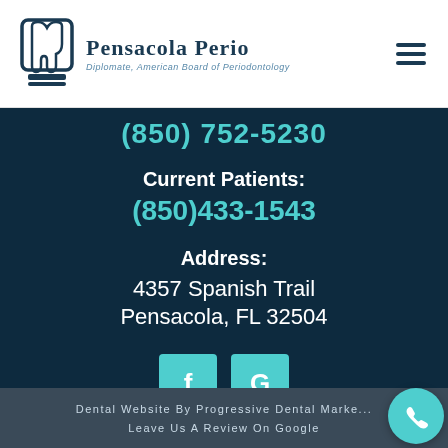[Figure (logo): Pensacola Perio logo with tooth icon and text 'Diplomatc, American Board of Periodontology']
(850) 752-5230
Current Patients:
(850)433-1543
Address:
4357 Spanish Trail
Pensacola, FL 32504
[Figure (other): Facebook and Google social media icon buttons in teal/cyan color]
Dental Website By Progressive Dental Marke...
Leave Us A Review On Google